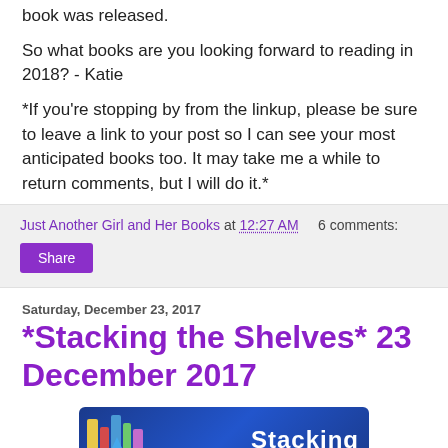book was released.
So what books are you looking forward to reading in 2018? - Katie
*If you're stopping by from the linkup, please be sure to leave a link to your post so I can see your most anticipated books too. It may take me a while to return comments, but I will do it.*
Just Another Girl and Her Books at 12:27 AM    6 comments:
Share
Saturday, December 23, 2017
*Stacking the Shelves* 23 December 2017
[Figure (illustration): Stacking the Shelves banner image with colorful book spines on the left and the word 'Stacking' in white bold text on a dark blue background]